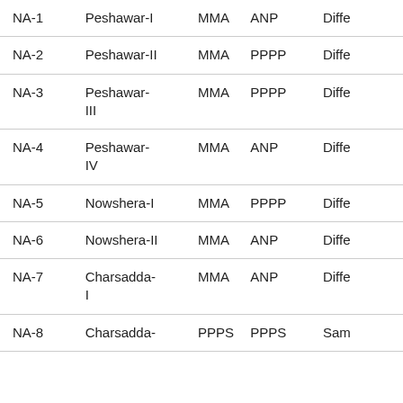| Constituency | Area | Winner | Runner-up | Result |
| --- | --- | --- | --- | --- |
| NA-1 | Peshawar-I | MMA | ANP | Diffe… |
| NA-2 | Peshawar-II | MMA | PPPP | Diffe… |
| NA-3 | Peshawar-III | MMA | PPPP | Diffe… |
| NA-4 | Peshawar-IV | MMA | ANP | Diffe… |
| NA-5 | Nowshera-I | MMA | PPPP | Diffe… |
| NA-6 | Nowshera-II | MMA | ANP | Diffe… |
| NA-7 | Charsadda-I | MMA | ANP | Diffe… |
| NA-8 | Charsadda- | PPPS | PPPS | Sam… |